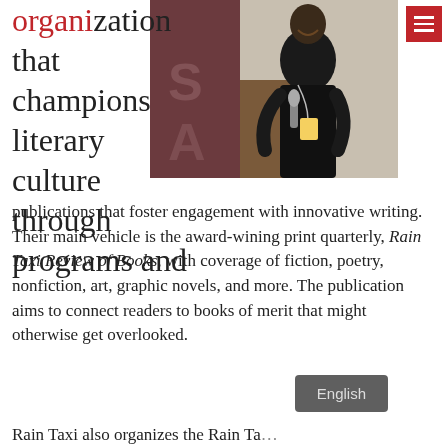organization that champions literary culture through programs and publications that foster engagement with innovative writing. Their main vehicle is the award-wining print quarterly, Rain Taxi Review of Books, with coverage of fiction, poetry, nonfiction, art, graphic novels, and more. The publication aims to connect readers to books of merit that might otherwise get overlooked.
[Figure (photo): A person in a black shirt laughing and holding a microphone, standing at what appears to be a podium or event stage with a banner in the background.]
Rain Taxi also organizes the Rain Taxi…